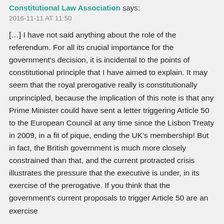Constitutional Law Association says: 2016-11-11 AT 11:50
[…] I have not said anything about the role of the referendum. For all its crucial importance for the government's decision, it is incidental to the points of constitutional principle that I have aimed to explain. It may seem that the royal prerogative really is constitutionally unprincipled, because the implication of this note is that any Prime Minister could have sent a letter triggering Article 50 to the European Council at any time since the Lisbon Treaty in 2009, in a fit of pique, ending the UK's membership! But in fact, the British government is much more closely constrained than that, and the current protracted crisis illustrates the pressure that the executive is under, in its exercise of the prerogative. If you think that the government's current proposals to trigger Article 50 are an exercise